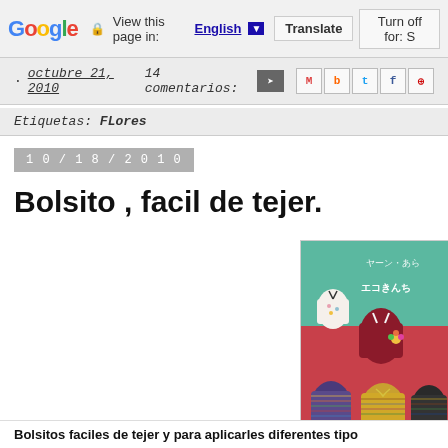Google  View this page in: English [▼]  Translate  Turn off for: S
· octubre 21, 2010   14 comentarios:   [share icons: M B t f ⊕]
Etiquetas: FLores
10/18/2010
Bolsito , facil de tejer.
[Figure (photo): Photo of several small colorful crocheted drawstring bags/pouches arranged on a surface, with Japanese text visible in the background. Book page showing craft bags, page number 47 visible.]
Bolsitos faciles de tejer y para aplicarles diferentes tipo